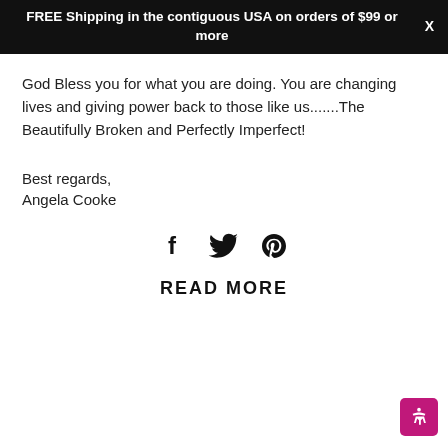FREE Shipping in the contiguous USA on orders of $99 or more
God Bless you for what you are doing. You are changing lives and giving power back to those like us.......The Beautifully Broken and Perfectly Imperfect!
Best regards,
Angela Cooke
[Figure (infographic): Social sharing icons: Facebook (f), Twitter (bird), Pinterest (P)]
READ MORE